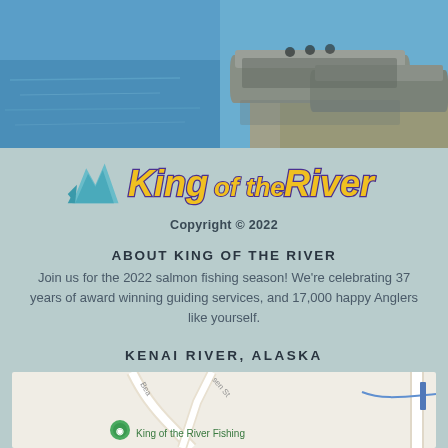[Figure (photo): Photograph of fishing boats docked at a riverbank with gravel shore and blue water]
[Figure (logo): King of the River logo with teal fish silhouette and yellow/purple stylized text]
Copyright © 2022
ABOUT KING OF THE RIVER
Join us for the 2022 salmon fishing season! We're celebrating 37 years of award winning guiding services, and 17,000 happy Anglers like yourself.
KENAI RIVER, ALASKA
[Figure (map): Google Maps screenshot showing Kenai River area with King of the River Fishing location marker]